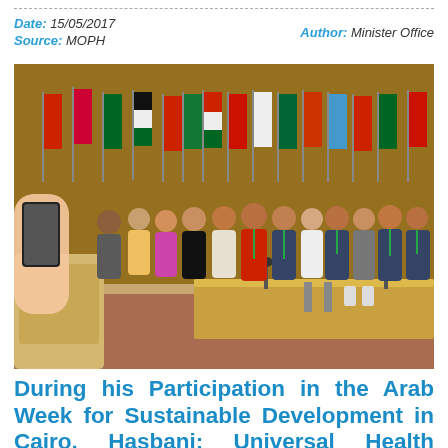Date: 15/05/2017   Author: Minister Office
Source: MOPH
[Figure (photo): Group photo of officials and delegates standing in a conference room with multiple national flags displayed on poles behind them. A conference table with microphones and name placards is visible in the foreground. A hand holding a phone is visible in the lower left corner.]
During his Participation in the Arab Week for Sustainable Development in Cairo, Hasbani: Universal Health Coverage Plays a Crucial Role in the